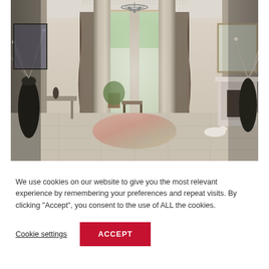[Figure (photo): Interior photo of an elegant home entrance hall with tall classical columns, a large front door open to a garden, patterned curtains, a chandelier, decorative vases, console table, and oriental rug on marble floor.]
We use cookies on our website to give you the most relevant experience by remembering your preferences and repeat visits. By clicking "Accept", you consent to the use of ALL the cookies.
Cookie settings
ACCEPT